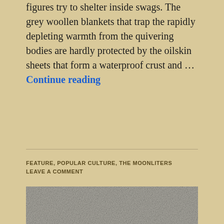figures try to shelter inside swags. The grey woollen blankets that trap the rapidly depleting warmth from the quivering bodies are hardly protected by the oilskin sheets that form a waterproof crust and … Continue reading
FEATURE, POPULAR CULTURE, THE MOONLITERS
LEAVE A COMMENT
[Figure (photo): Black and white vintage photograph of a man in white clothing and boots being filmed by a cameraman on a tripod outdoors, with a fence and trees in the background.]